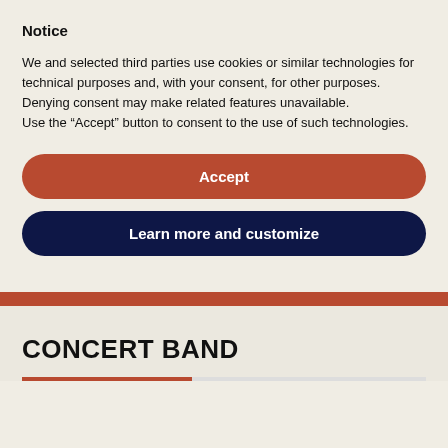Notice
We and selected third parties use cookies or similar technologies for technical purposes and, with your consent, for other purposes. Denying consent may make related features unavailable. Use the “Accept” button to consent to the use of such technologies.
Accept
Learn more and customize
CONCERT BAND